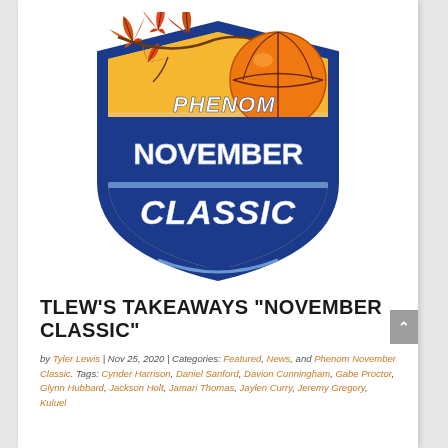[Figure (logo): Phenom November Classic basketball event logo: a shield shape with dark blue border, autumn maple leaf background in orange/yellow, an orange basketball, and text 'PHENOM' in blue italic letters at top, 'NOVEMBER' in large white bold letters in the middle, and 'CLASSIC' in large white bold italic letters at the bottom with a light blue horizontal bar accent.]
TLEW'S TAKEAWAYS “NOVEMBER CLASSIC”
by Tyler Lewis | Nov 25, 2020 | Categories: Featured, News, and Phenom November Classic. Tags: Cynder Harrison, Daniel Sanford, Davion Cunningham, Gabe Proctor, Glynn Hubbard, Jackson Holt, Jamari Thomas, Jaylen Curry, Jeremy Gregory, Kuluel